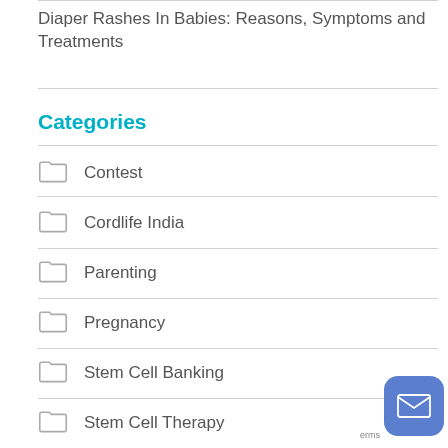Diaper Rashes In Babies: Reasons, Symptoms and Treatments
Categories
Contest
Cordlife India
Parenting
Pregnancy
Stem Cell Banking
Stem Cell Therapy